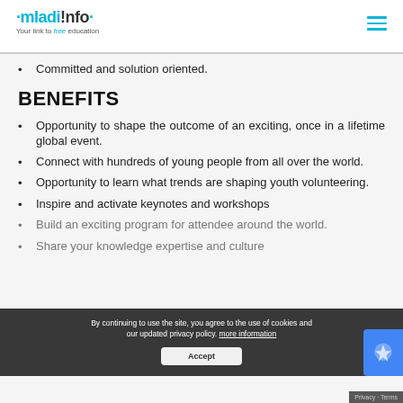·mladi!nfo· Your link to free education
Committed and solution oriented.
BENEFITS
Opportunity to shape the outcome of an exciting, once in a lifetime global event.
Connect with hundreds of young people from all over the world.
Opportunity to learn what trends are shaping youth volunteering.
Inspire and activate keynotes and workshops
Build an exciting [experience] for attendee around the world.
Share your knowledge expertise and culture